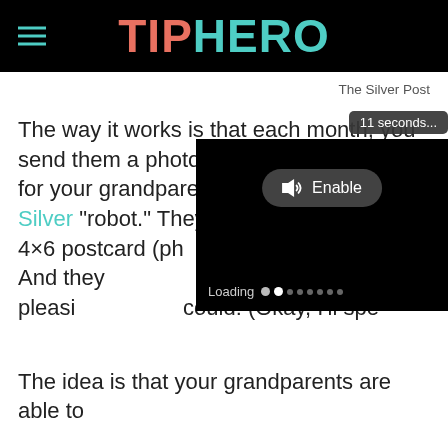TIPHERO
The Silver Post
The way it works is that each month, you send them a photo and text caption meant for your grandparents to the designated Silver [Post] "robot." They will th[en print and mail] a 4×6 postcard (ph[oto on the front,] the back). And they [make it look] aesthetically pleasi[ng as possible, as I] could! (Okay, I'll spe[ll it out properly.)
[Figure (screenshot): Video player overlay showing '11 seconds...' timer tooltip, 'Enable' button with speaker icon, black video area, and 'Loading' progress indicator with dots]
The idea is that your grandparents are able to